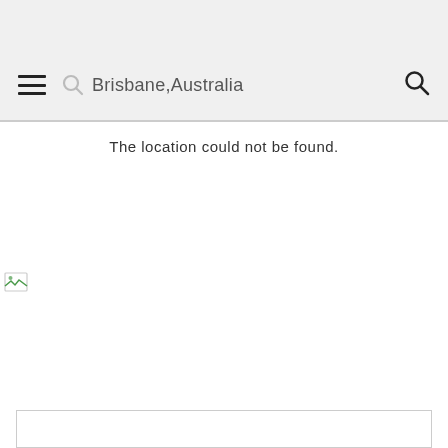[Figure (screenshot): App header bar with hamburger menu icon on the left, a search field containing 'Brisbane,Australia' in the center, and a search magnifying glass icon on the right. Background is light grey.]
The location could not be found.
[Figure (other): Broken image icon (small, top-left area below main content)]
[Figure (other): Empty white box with grey border at the bottom of the page]